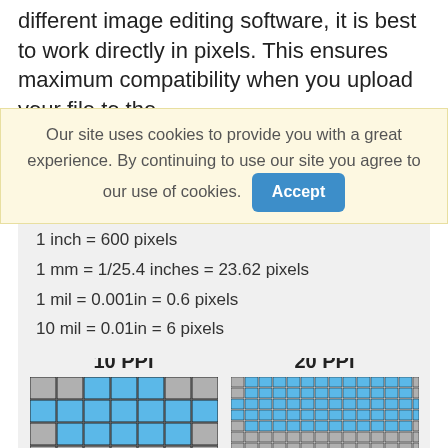different image editing software, it is best to work directly in pixels. This ensures maximum compatibility when you upload your file to the
Our site uses cookies to provide you with a great experience. By continuing to use our site you agree to our use of cookies. Accept
1 inch = 600 pixels
1 mm = 1/25.4 inches = 23.62 pixels
1 mil = 0.001in = 0.6 pixels
10 mil = 0.01in = 6 pixels
[Figure (infographic): Two PPI comparison grids: 10 PPI (left) and 20 PPI (right), showing pixel grids with blue and gray squares illustrating pixel density differences.]